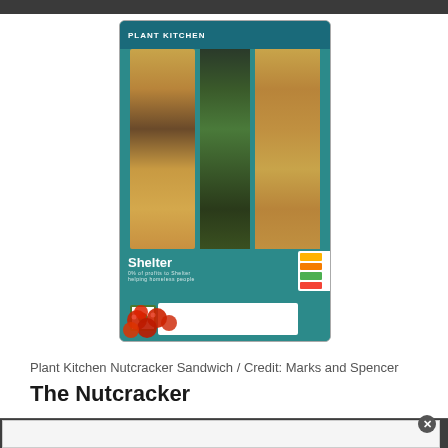[Figure (photo): Marks and Spencer Plant Kitchen Nutcracker Sandwich product packaging on a teal/green background with snowflake decorations, showing sandwich filling with nuts and greens, cranberries at bottom, Shelter charity branding, vegetarian badge, and nutrition strip on the right side.]
Plant Kitchen Nutcracker Sandwich / Credit: Marks and Spencer
The Nutcracker